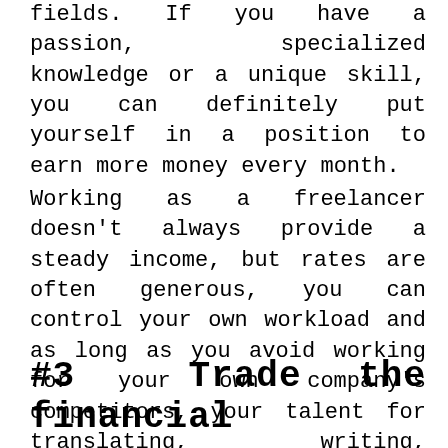fields. If you have a passion, specialized knowledge or a unique skill, you can definitely put yourself in a position to earn more money every month.
Working as a freelancer doesn't always provide a steady income, but rates are often generous, you can control your own workload and as long as you avoid working for your own company's competitors, your talent for translating, writing, teaching, programming, or web designing could soon provide you with a handy bonus at the end of the month.
#3  Trade the financial